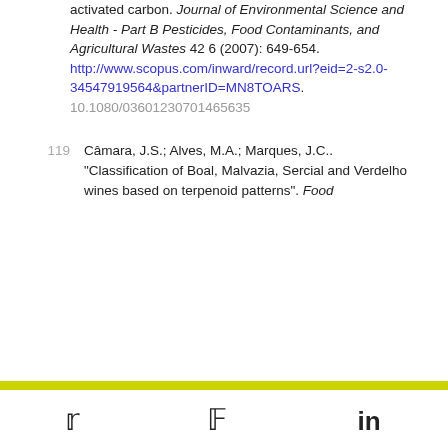activated carbon. Journal of Environmental Science and Health - Part B Pesticides, Food Contaminants, and Agricultural Wastes 42 6 (2007): 649-654. http://www.scopus.com/inward/record.url?eid=2-s2.0-34547919564&partnerID=MN8TOARS. 10.1080/03601230701465635
119  Câmara, J.S.; Alves, M.A.; Marques, J.C.. "Classification of Boal, Malvazia, Sercial and Verdelho wines based on terpenoid patterns". Food
Twitter Facebook LinkedIn